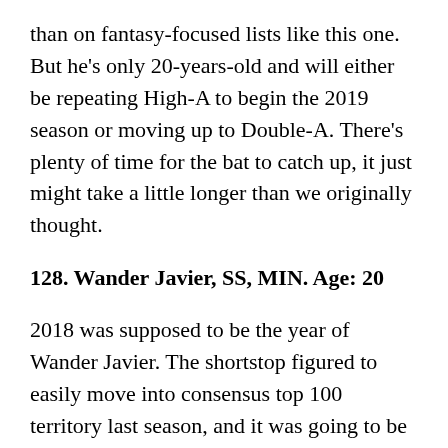than on fantasy-focused lists like this one. But he's only 20-years-old and will either be repeating High-A to begin the 2019 season or moving up to Double-A. There's plenty of time for the bat to catch up, it just might take a little longer than we originally thought.
128. Wander Javier, SS, MIN. Age: 20
2018 was supposed to be the year of Wander Javier. The shortstop figured to easily move into consensus top 100 territory last season, and it was going to be aided by stellar numbers in his full season debut. Now much more risky than he